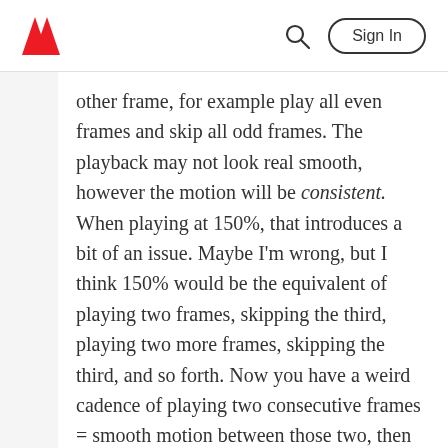Adobe | Sign In
other frame, for example play all even frames and skip all odd frames. The playback may not look real smooth, however the motion will be consistent. When playing at 150%, that introduces a bit of an issue. Maybe I'm wrong, but I think 150% would be the equivalent of playing two frames, skipping the third, playing two more frames, skipping the third, and so forth. Now you have a weird cadence of playing two consecutive frames = smooth motion between those two, then skipping a frame, so there is a jump in